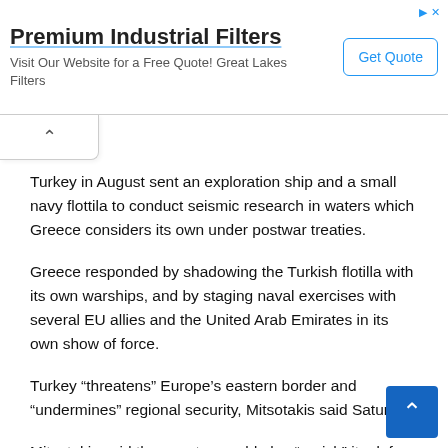[Figure (other): Advertisement banner: 'Premium Industrial Filters' with subtitle 'Visit Our Website for a Free Quote! Great Lakes Filters' and a 'Get Quote' button]
Turkey in August sent an exploration ship and a small navy flottila to conduct seismic research in waters which Greece considers its own under postwar treaties.
Greece responded by shadowing the Turkish flotilla with its own warships, and by staging naval exercises with several EU allies and the United Arab Emirates in its own show of force.
Turkey “threatens” Europe’s eastern border and “undermines” regional security, Mitsotakis said Saturday.
Mitsotakis said the country would also “enrich” its defence capacity with new arms, torpedoes and missiles and revamp its loss-making defence industry.